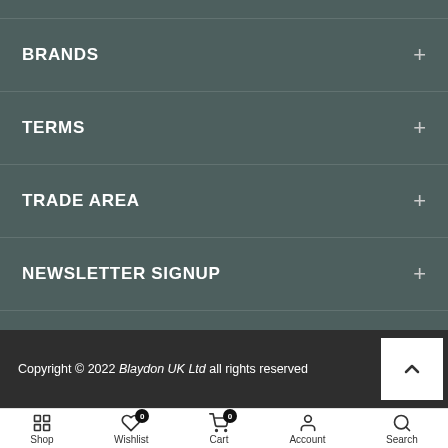BRANDS +
TERMS +
TRADE AREA +
NEWSLETTER SIGNUP +
Copyright © 2022 Blaydon UK Ltd all rights reserved
Shop  Wishlist 0  Cart 0  Account  Search